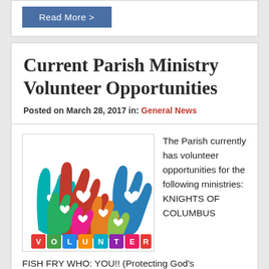Read More >
Current Parish Ministry Volunteer Opportunities
Posted on March 28, 2017 in: General News
[Figure (illustration): Colorful cartoon raised hands with heart shapes, above colored letter blocks spelling VOLUNTEER]
The Parish currently has volunteer opportunities for the following ministries: KNIGHTS OF COLUMBUS
FISH FRY WHO: YOU!! (Protecting God's